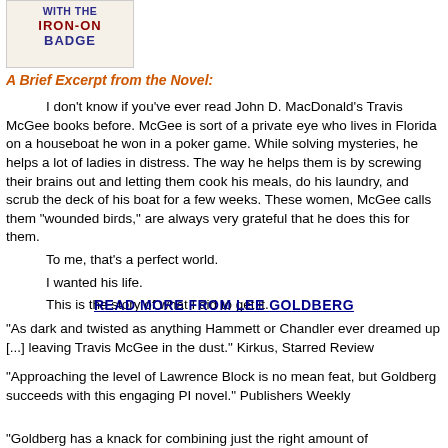[Figure (illustration): Book title graphic with text: WITH THE IRON-ON BADGE in blue and red bold text on a light background]
A Brief Excerpt from the Novel:
I don't know if you've ever read John D. MacDonald's Travis McGee books before. McGee is sort of a private eye who lives in Florida on a houseboat he won in a poker game. While solving mysteries, he helps a lot of ladies in distress. The way he helps them is by screwing their brains out and letting them cook his meals, do his laundry, and scrub the deck of his boat for a few weeks. These women, McGee calls them "wounded birds," are always very grateful that he does this for them.
    To me, that's a perfect world.
    I wanted his life.
    This is the story of what I did to get it.
READ MORE FROM LEE GOLDBERG
"As dark and twisted as anything Hammett or Chandler ever dreamed up [...] leaving Travis McGee in the dust." Kirkus, Starred Review
"Approaching the level of Lawrence Block is no mean feat, but Goldberg succeeds with this engaging PI novel." Publishers Weekly
"Goldberg has a knack for combining just the right amount of